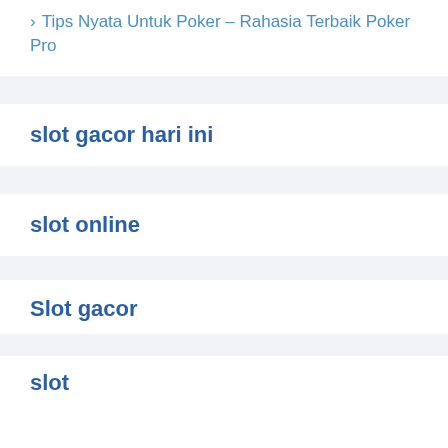> Tips Nyata Untuk Poker – Rahasia Terbaik Poker Pro
slot gacor hari ini
slot online
Slot gacor
slot88